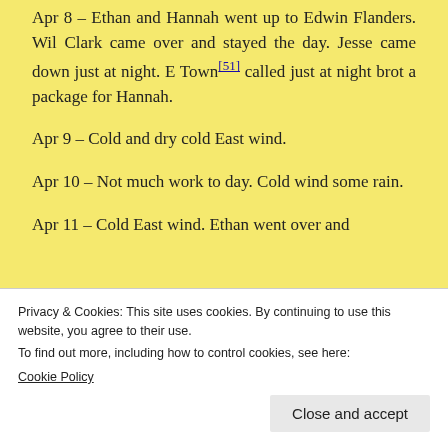Apr 8 – Ethan and Hannah went up to Edwin Flanders. Wil Clark came over and stayed the day. Jesse came down just at night. E Town[51] called just at night brot a package for Hannah.
Apr 9 – Cold and dry cold East wind.
Apr 10 – Not much work to day. Cold wind some rain.
Apr 11 – Cold East wind. Ethan went over and
Privacy & Cookies: This site uses cookies. By continuing to use this website, you agree to their use.
To find out more, including how to control cookies, see here:
Cookie Policy
Close and accept